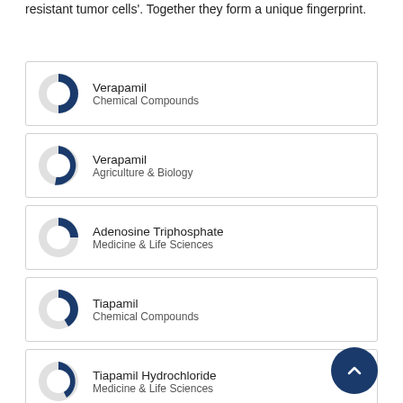resistant tumor cells'. Together they form a unique fingerprint.
Verapamil — Chemical Compounds
Verapamil — Agriculture & Biology
Adenosine Triphosphate — Medicine & Life Sciences
Tiapamil — Chemical Compounds
Tiapamil Hydrochloride — Medicine & Life Sciences
Cell lines